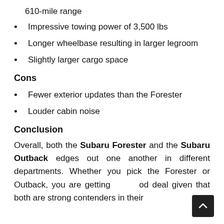610-mile range
Impressive towing power of 3,500 lbs
Longer wheelbase resulting in larger legroom
Slightly larger cargo space
Cons
Fewer exterior updates than the Forester
Louder cabin noise
Conclusion
Overall, both the Subaru Forester and the Subaru Outback edges out one another in different departments. Whether you pick the Forester or Outback, you are getting a good deal given that both are strong contenders in their